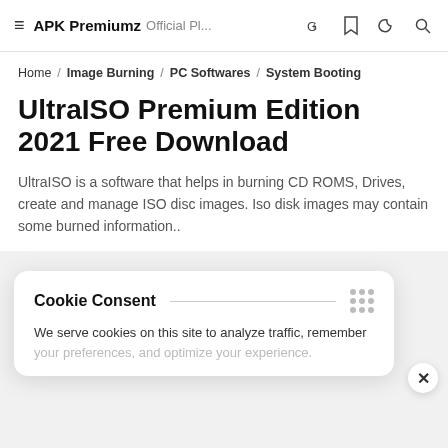APK Premiumz Official Pl...
Home / Image Burning / PC Softwares / System Booting
UltraISO Premium Edition 2021 Free Download
UltraISO is a software that helps in burning CD ROMS, Drives, create and manage ISO disc images. Iso disk images may contain some burned information..
Cookie Consent
We serve cookies on this site to analyze traffic, remember your preferences, and optimize your experience.